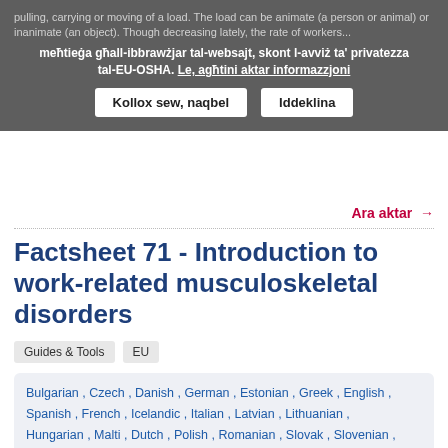pulling, carrying or moving of a load. The load can be animate (a person or animal) or inanimate (an object). Though decreasing lately, the rate of workers...
meħtieġa għall-ibbrawżjar tal-websajt, skont l-avviż ta' privatezza tal-EU-OSHA. Le, agħtini aktar informazzjoni
Kollox sew, naqbel   Iddeklina
Ara aktar →
Factsheet 71 - Introduction to work-related musculoskeletal disorders
Guides & Tools   EU
Bulgarian , Czech , Danish , German , Estonian , Greek , English , Spanish , French , Icelandic , Italian , Latvian , Lithuanian , Hungarian , Malti , Dutch , Polish , Romanian , Slovak , Slovenian , Finnish , Swedish
EU OSHA
Musculoskeletal disorders (MSDs) are the most common workrelated problem in Europe. Almost 24